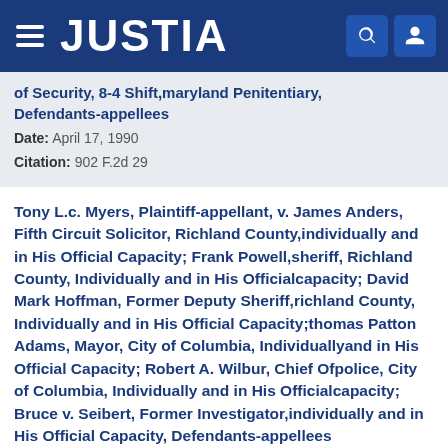JUSTIA
of Security, 8-4 Shift, maryland Penitentiary, Defendants-appellees
Date: April 17, 1990
Citation: 902 F.2d 29
Tony L.c. Myers, Plaintiff-appellant, v. James Anders, Fifth Circuit Solicitor, Richland County, individually and in His Official Capacity; Frank Powell, sheriff, Richland County, Individually and in His Officialcapacity; David Mark Hoffman, Former Deputy Sheriff, richland County, Individually and in His Official Capacity;thomas Patton Adams, Mayor, City of Columbia, Individuallyand in His Official Capacity; Robert A. Wilbur, Chief Ofpolice, City of Columbia, Individually and in His Officialcapacity; Bruce v. Seibert, Former Investigator, individually and in His Official Capacity, Defendants-appellees